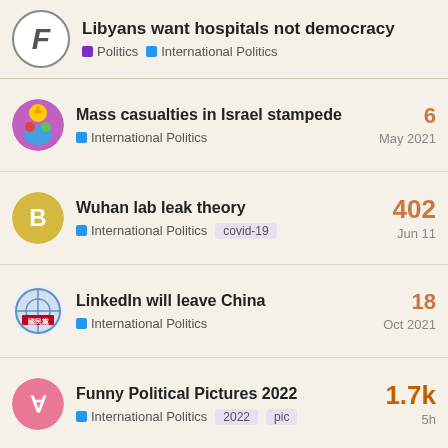Libyans want hospitals not democracy | Politics | International Politics
Mass casualties in Israel stampede | International Politics | 6 | May 2021
Wuhan lab leak theory | International Politics | covid-19 | 402 | Jun 11
LinkedIn will leave China | International Politics | 18 | Oct 2021
Funny Political Pictures 2022 | International Politics | 2022 | pic | 1.7k | 5h
How much do you love Putin? | International Politics | 41 | Apr 14
Want to read more? Browse other topics in International Politi... or view latest topics.